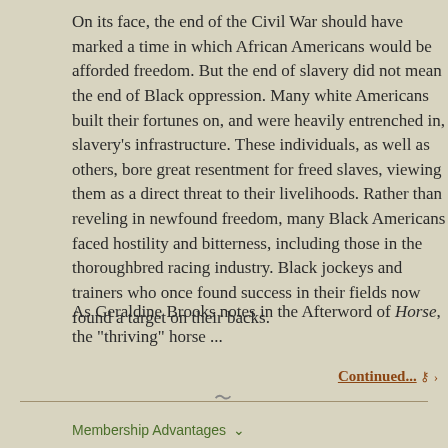On its face, the end of the Civil War should have marked a time in which African Americans would be afforded freedom. But the end of slavery did not mean the end of Black oppression. Many white Americans built their fortunes on, and were heavily entrenched in, slavery's infrastructure. These individuals, as well as others, bore great resentment for freed slaves, viewing them as a direct threat to their livelihoods. Rather than reveling in newfound freedom, many Black Americans faced hostility and bitterness, including those in the thoroughbred racing industry. Black jockeys and trainers who once found success in their fields now found a target on their backs.
As Geraldine Brooks notes in the Afterword of Horse, the "thriving" horse ...
Continued... ›
Membership Advantages ∨